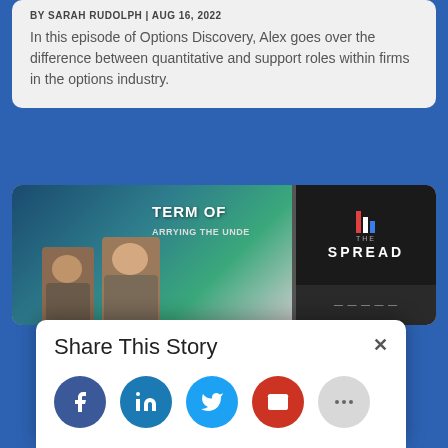BY SARAH RUDOLPH | AUG 16, 2022
In this episode of Options Discovery, Alex goes over the difference between quantitative and support roles within firms in the options industry.
[Figure (screenshot): Thumbnail showing two men in a video call with 'TERM OF' text overlay and The Spread podcast logo on dark background]
Share This Story
Social share buttons: Facebook, LinkedIn, Twitter, Email, More